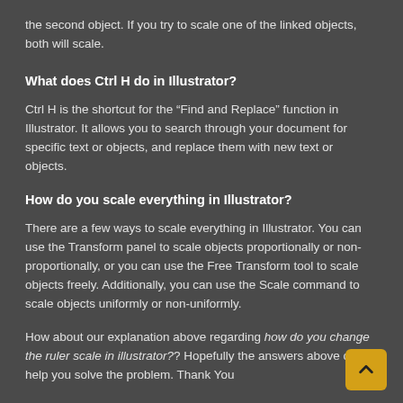the second object. If you try to scale one of the linked objects, both will scale.
What does Ctrl H do in Illustrator?
Ctrl H is the shortcut for the “Find and Replace” function in Illustrator. It allows you to search through your document for specific text or objects, and replace them with new text or objects.
How do you scale everything in Illustrator?
There are a few ways to scale everything in Illustrator. You can use the Transform panel to scale objects proportionally or non-proportionally, or you can use the Free Transform tool to scale objects freely. Additionally, you can use the Scale command to scale objects uniformly or non-uniformly.
How about our explanation above regarding how do you change the ruler scale in illustrator?? Hopefully the answers above can help you solve the problem. Thank You